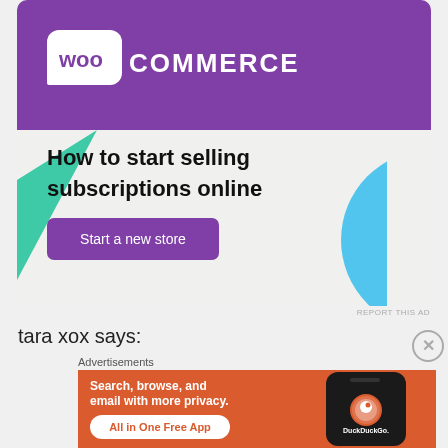[Figure (screenshot): WooCommerce advertisement banner. Purple background with WooCommerce logo at top. Text: 'How to start selling subscriptions online'. Purple button: 'Start a new store'. Decorative green triangle and blue circle shapes. Light gray background.]
REPORT THIS AD
tara xox says:
Advertisements
[Figure (screenshot): DuckDuckGo advertisement. Orange background with white text: 'Search, browse, and email with more privacy.' White button with orange text: 'All in One Free App'. Image of a phone with DuckDuckGo logo and text on the right side.]